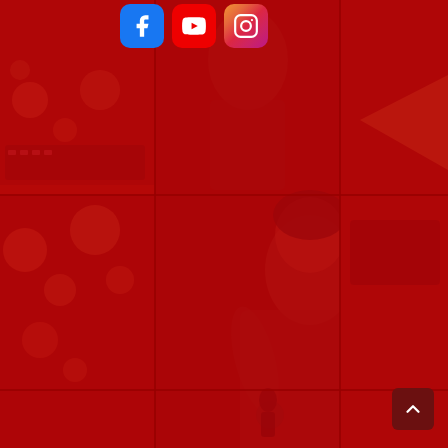[Figure (photo): A red-tinted photo collage/mosaic of a person singing into a microphone in a dimly lit venue with bokeh lights in the background. The image is repeated/tiled in a grid pattern with a strong red color overlay. Three social media icons (Facebook, YouTube, Instagram) appear in the top area. A scroll-to-top button appears in the bottom right corner.]